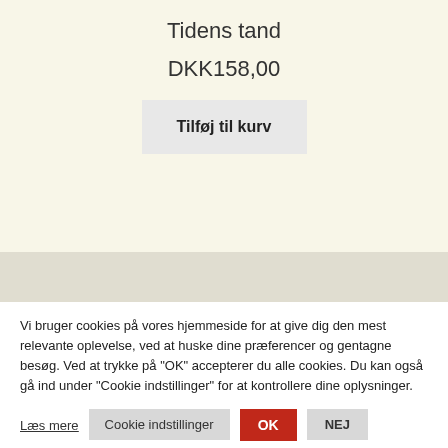Tidens tand
DKK158,00
Tilføj til kurv
Vi bruger cookies på vores hjemmeside for at give dig den mest relevante oplevelse, ved at huske dine præferencer og gentagne besøg. Ved at trykke på "OK" accepterer du alle cookies. Du kan også gå ind under "Cookie indstillinger" for at kontrollere dine oplysninger.
Læs mere
Cookie indstillinger
OK
NEJ